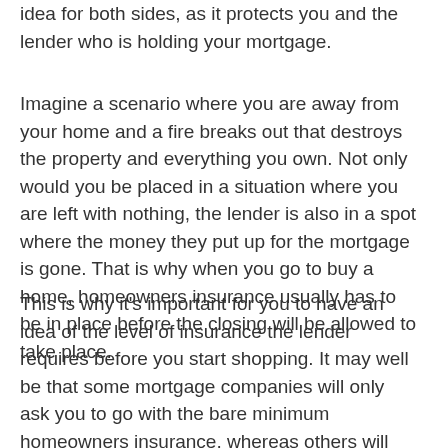idea for both sides, as it protects you and the lender who is holding your mortgage.
Imagine a scenario where you are away from your home and a fire breaks out that destroys the property and everything you own. Not only would you be placed in a situation where you are left with nothing, the lender is also in a spot where the money they put up for the mortgage is gone. That is why when you go to buy a home, homeowners insurance usually has to be in place before the closing will be allowed to take place.
This is why it's important for you to have an idea of the level of insurance the lender requires before you start shopping. It may well be that some mortgage companies will only ask you to go with the bare minimum homeowners insurance, whereas others will demand that you go to the max before they sign off on the deal. The amount of